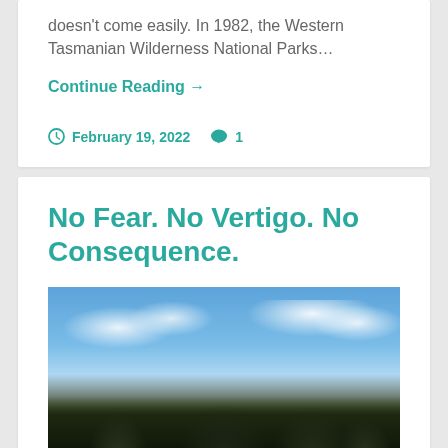doesn't come easily. In 1982, the Western Tasmanian Wilderness National Parks…
Continue Reading →
February 19, 2022  💬 1
No Fear. No Vertigo. No Consequence.
[Figure (photo): Mountain landscape with jagged dark rocky peaks against a blue sky with white clouds]